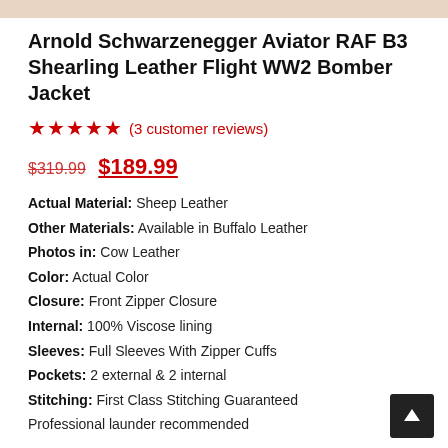[Figure (photo): Top strip showing partial product images of the leather jacket]
Arnold Schwarzenegger Aviator RAF B3 Shearling Leather Flight WW2 Bomber Jacket
★★★★★ (3 customer reviews)
$319.99 $189.99
Actual Material: Sheep Leather
Other Materials: Available in Buffalo Leather
Photos in: Cow Leather
Color: Actual Color
Closure: Front Zipper Closure
Internal: 100% Viscose lining
Sleeves: Full Sleeves With Zipper Cuffs
Pockets: 2 external & 2 internal
Stitching: First Class Stitching Guaranteed
Professional launder recommended